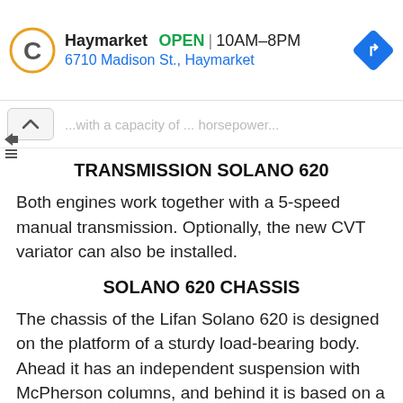[Figure (screenshot): Google Maps style ad banner showing Carmax logo, store name Haymarket, OPEN status, hours 10AM-8PM, address 6710 Madison St., Haymarket, and a blue diamond navigation icon]
...with a capacity of ... horsepower...
TRANSMISSION SOLANO 620
Both engines work together with a 5-speed manual transmission. Optionally, the new CVT variator can also be installed.
SOLANO 620 CHASSIS
The chassis of the Lifan Solano 620 is designed on the platform of a sturdy load-bearing body. Ahead it has an independent suspension with McPherson columns, and behind it is based on a semi-independent beam with longitudinal arms. After restyling, the suspension has been changed and is now adjusted to our roads. All